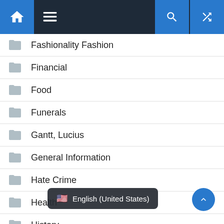Navigation bar with home, menu, search, and shuffle icons
Fashionality Fashion
Financial
Food
Funerals
Gantt, Lucius
General Information
Hate Crime
Health
History
Home Security
In...
🇺🇸 English (United States)